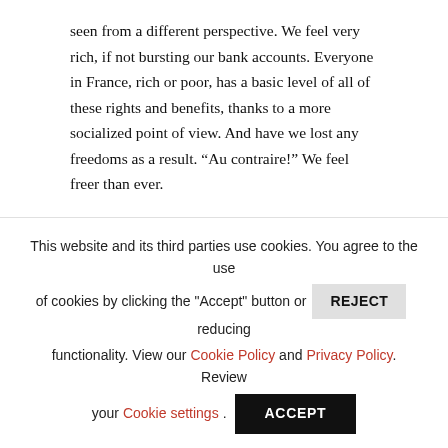seen from a different perspective. We feel very rich, if not bursting our bank accounts. Everyone in France, rich or poor, has a basic level of all of these rights and benefits, thanks to a more socialized point of view. And have we lost any freedoms as a result. “Au contraire!” We feel freer than ever.
If we believe the Chinese, then today is day from which we can all gain new heights on our outlook on life, and if you believe the Hebraic point of view, it’s a day to be lucky and cherish our lives. Anyway you look at it, September 9, 2009 is one very special day and I’m glad to be celebrating it here in the capital
This website and its third parties use cookies. You agree to the use of cookies by clicking the "Accept" button or REJECT reducing functionality. View our Cookie Policy and Privacy Policy. Review your Cookie settings. ACCEPT